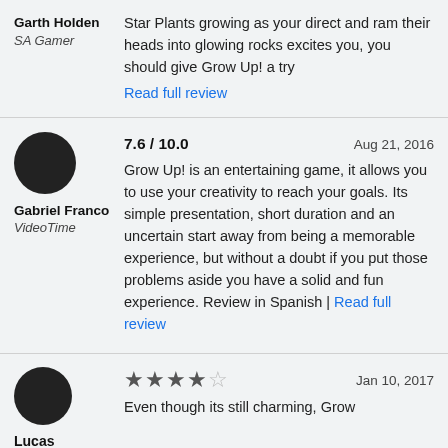Garth Holden
SA Gamer
Star Plants growing as your direct and ram their heads into glowing rocks excites you, you should give Grow Up! a try
Read full review
Gabriel Franco
VideoTime
7.6 / 10.0    Aug 21, 2016
Grow Up! is an entertaining game, it allows you to use your creativity to reach your goals. Its simple presentation, short duration and an uncertain start away from being a memorable experience, but without a doubt if you put those problems aside you have a solid and fun experience. Review in Spanish | Read full review
Lucas Moura
Hu3hr
Jan 10, 2017
Even though its still charming, Grow